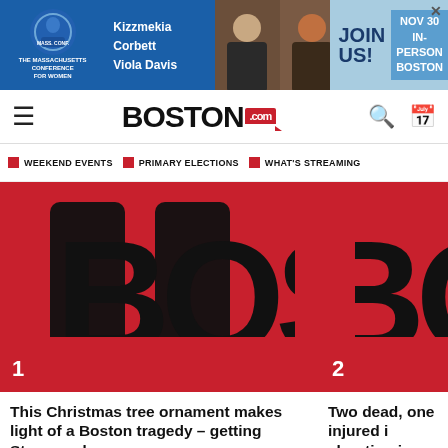[Figure (infographic): Advertisement banner for The Massachusetts Conference for Women featuring Kizzmekia Corbett and Viola Davis, with 'JOIN US! NOV 30 IN-PERSON BOSTON']
BOSTON.com
WEEKEND EVENTS   PRIMARY ELECTIONS   WHAT'S STREAMING
[Figure (photo): Two cropped Boston.com logo images side by side, each overlaid with article number (1 and 2) on a red background]
This Christmas tree ornament makes light of a Boston tragedy – getting Storrowed
Two dead, one injured i shooting in Boston
In Related News